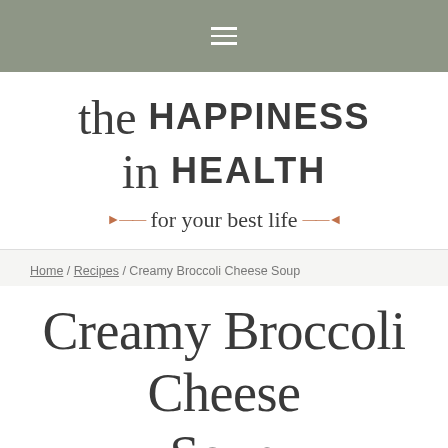≡ (navigation menu icon)
[Figure (logo): The Happiness in Health logo — 'the' and 'in' in cursive script, 'HAPPINESS' and 'HEALTH' in bold uppercase sans-serif, with 'for your best life' in cursive flanked by decorative copper/orange arrow ornaments]
Home / Recipes / Creamy Broccoli Cheese Soup
Creamy Broccoli Cheese Soup